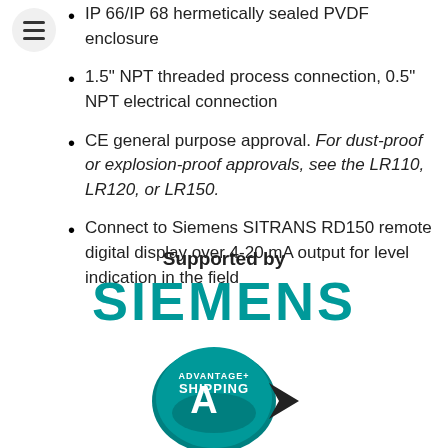IP 66/IP 68 hermetically sealed PVDF enclosure
1.5" NPT threaded process connection, 0.5" NPT electrical connection
CE general purpose approval. For dust-proof or explosion-proof approvals, see the LR110, LR120, or LR150.
Connect to Siemens SITRANS RD150 remote digital display over 4-20 mA output for level indication in the field
Supported by
[Figure (logo): Siemens logo in teal/cyan color with large bold text SIEMENS, and below it an Advantage+ Shipping badge with a teal teardrop shape containing a stylized letter A and shipping arrows]